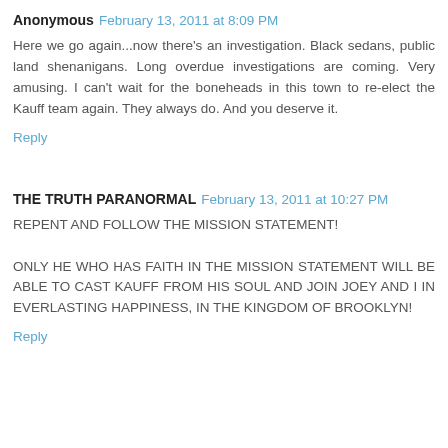Anonymous  February 13, 2011 at 8:09 PM
Here we go again...now there's an investigation. Black sedans, public land shenanigans. Long overdue investigations are coming. Very amusing. I can't wait for the boneheads in this town to re-elect the Kauff team again. They always do. And you deserve it.
Reply
THE TRUTH PARANORMAL  February 13, 2011 at 10:27 PM
REPENT AND FOLLOW THE MISSION STATEMENT!

ONLY HE WHO HAS FAITH IN THE MISSION STATEMENT WILL BE ABLE TO CAST KAUFF FROM HIS SOUL AND JOIN JOEY AND I IN EVERLASTING HAPPINESS, IN THE KINGDOM OF BROOKLYN!
Reply